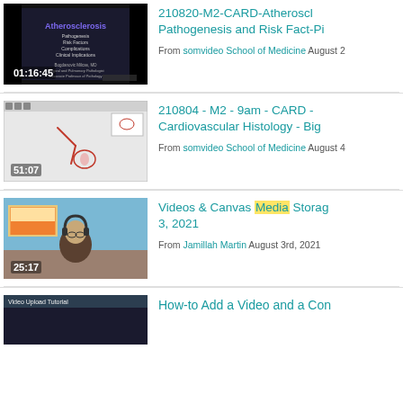[Figure (screenshot): Video thumbnail for Atherosclerosis lecture with duration 01:16:45]
210820-M2-CARD-Atherosclerosis Pathogenesis and Risk Fact-Pi
From somvideo School of Medicine August 2
[Figure (screenshot): Video thumbnail showing histology slide drawing with duration 51:07]
210804 - M2 - 9am - CARD - Cardiovascular Histology - Big
From somvideo School of Medicine August 4
[Figure (photo): Video thumbnail of person with headphones at desk, duration 25:17]
Videos & Canvas Media Storage 3, 2021
From Jamillah Martin August 3rd, 2021
[Figure (screenshot): Video thumbnail partial view at bottom of page]
How-to Add a Video and a Con